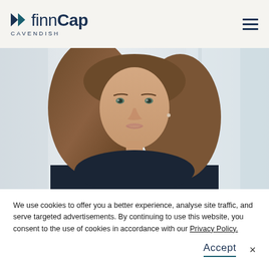[Figure (logo): finnCap Cavendish logo with two forward-arrow triangles above the text, dark navy color]
[Figure (photo): Professional headshot of a young woman with long brown hair wearing a dark navy top, photographed in front of a blurred office window background]
We use cookies to offer you a better experience, analyse site traffic, and serve targeted advertisements. By continuing to use this website, you consent to the use of cookies in accordance with our Privacy Policy.
Accept
×